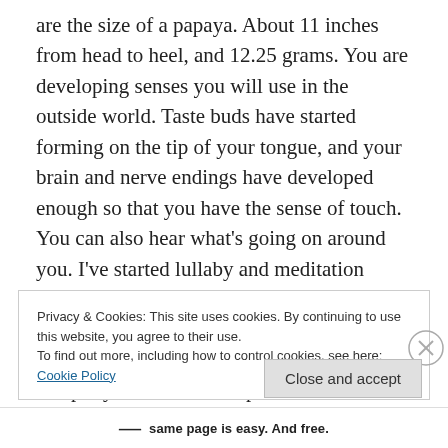are the size of a papaya. About 11 inches from head to heel, and 12.25 grams. You are developing senses you will use in the outside world. Taste buds have started forming on the tip of your tongue, and your brain and nerve endings have developed enough so that you have the sense of touch. You can also hear what’s going on around you. I’ve started lullaby and meditation playlists, and I play them close to my belly for the both of us when I lay down for bed at night. After you are born, I will play them as I put you down to sleep.
Privacy & Cookies: This site uses cookies. By continuing to use this website, you agree to their use.
To find out more, including how to control cookies, see here: Cookie Policy
Close and accept
— same page is easy. And free.